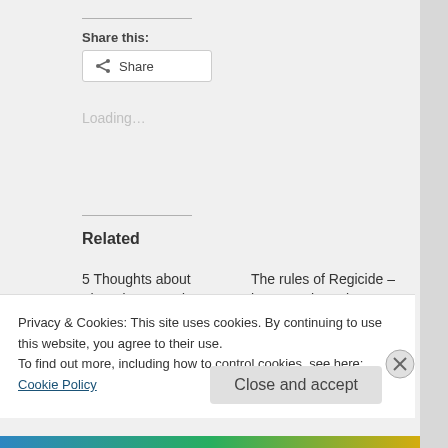Share this:
Share
Loading...
Related
5 Thoughts about Thursday's Leaders' Question Time
The rules of Regicide – how can the Labour Party get rid of Ed?
Privacy & Cookies: This site uses cookies. By continuing to use this website, you agree to their use.
To find out more, including how to control cookies, see here: Cookie Policy
Close and accept